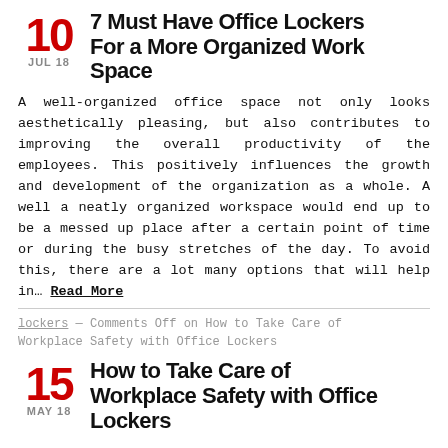7 Must Have Office Lockers For a More Organized Work Space
A well-organized office space not only looks aesthetically pleasing, but also contributes to improving the overall productivity of the employees. This positively influences the growth and development of the organization as a whole. A well a neatly organized workspace would end up to be a messed up place after a certain point of time or during the busy stretches of the day. To avoid this, there are a lot many options that will help in… Read More
lockers — Comments Off on How to Take Care of Workplace Safety with Office Lockers
How to Take Care of Workplace Safety with Office Lockers